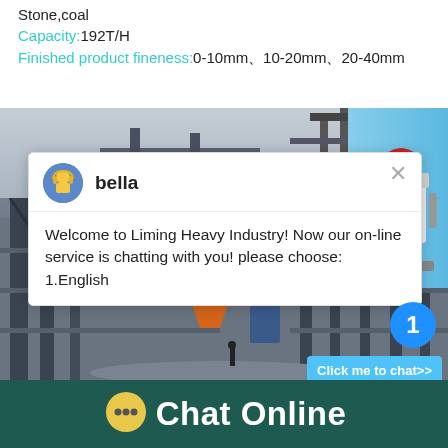Stone,coal
Capacity: 192T/H
Finished product fineness: 0-10mm、10-20mm、20-40mm
[Figure (photo): Industrial stone crushing facility with steel framework, orange hopper, and overhead crane structures]
bella
Welcome to Liming Heavy Industry! Now our on-line service is chatting with you! please choose: 1.English
1
Click me to chat>>
Chat Online